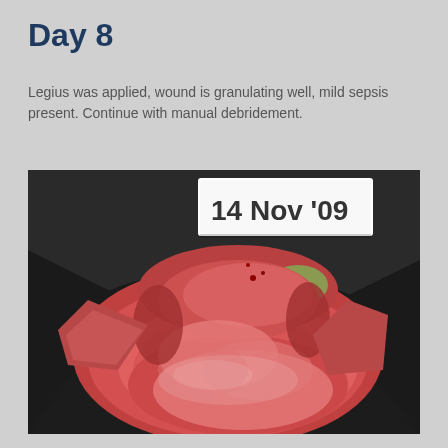Day 8
Legius was applied, wound is granulating well, mild sepsis present. Continue with manual debridement.
[Figure (photo): Clinical photograph of a wound showing granulating tissue with mild sepsis, dated 14 NOV '09. The wound shows red granulation tissue with some necrotic areas and surrounding dark skin.]